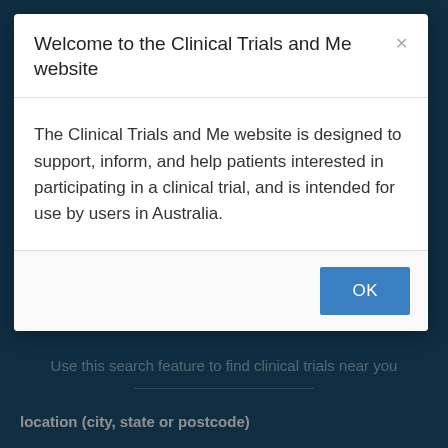[Figure (screenshot): Website background showing 'FIND ABBVIE CLINICAL TRIALS NEAR ME' heading on dark teal background with search subtitle text and a divider line, partially visible behind modal dialog]
Welcome to the Clinical Trials and Me website
The Clinical Trials and Me website is designed to support, inform, and help patients interested in participating in a clinical trial, and is intended for use by users in Australia.
OK
FIND ABBVIE CLINICAL TRIALS NEAR ME
Use this search feature to find clinical trials near you
location (city, state or postcode)